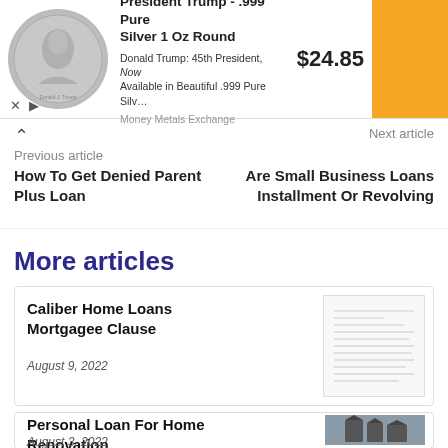[Figure (other): Advertisement banner: President Trump .999 Pure Silver 1 Oz Round coin, $24.85, Money Metals Exchange]
Previous article
How To Get Denied Parent Plus Loan
Next article
Are Small Business Loans Installment Or Revolving
More articles
Caliber Home Loans Mortgagee Clause
August 9, 2022
Personal Loan For Home Renovation
August 3, 2022